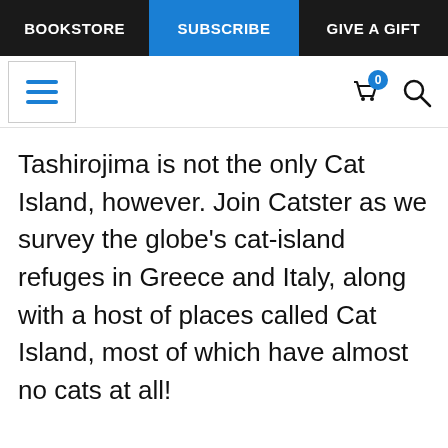BOOKSTORE | SUBSCRIBE | GIVE A GIFT
[Figure (screenshot): Website navigation bar with hamburger menu icon, shopping cart icon with badge showing 0, and search icon]
Tashirojima is not the only Cat Island, however. Join Catster as we survey the globe’s cat-island refuges in Greece and Italy, along with a host of places called Cat Island, most of which have almost no cats at all!